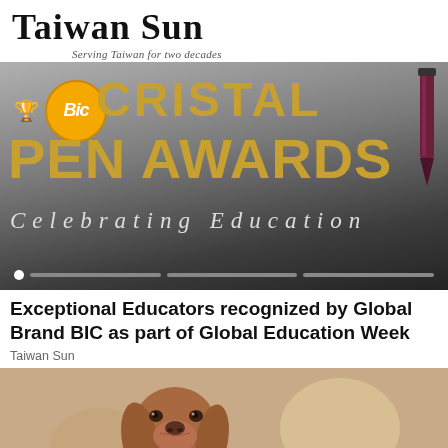Taiwan Sun — Serving Taiwan for two decades
[Figure (photo): BIC Cristal Pen Awards banner — 'BIC CRISTAL PEN AWARDS Celebrating Education' on a dark gradient background with a BIC pen icon and slider navigation dots]
Exceptional Educators recognized by Global Brand BIC as part of Global Education Week
Taiwan Sun
[Figure (photo): Photograph of a Vizsla dog looking directly at the camera, in an outdoor setting with a blurred warm beige background]